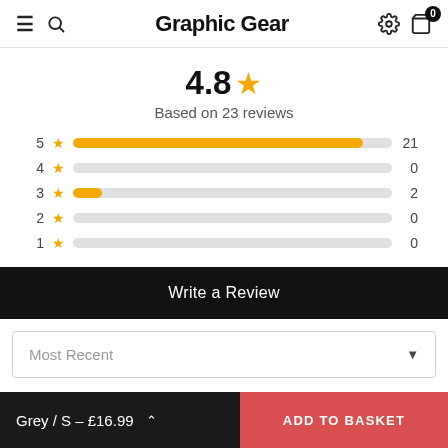Graphic Gear
4.8 ★
Based on 23 reviews
[Figure (bar-chart): Star rating distribution]
Write a Review
Most Recent
Grey / S – £16.99
ADD TO BASKET